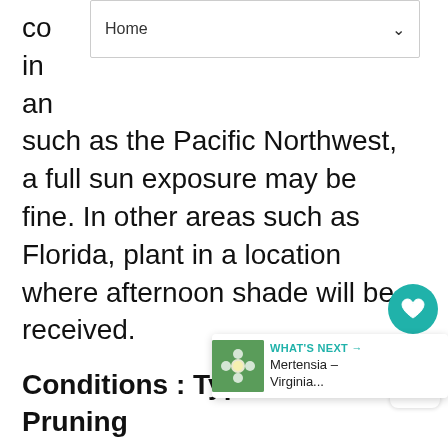Home
com in an [partially obscured text] such as the Pacific Northwest, a full sun exposure may be fine. In other areas such as Florida, plant in a location where afternoon shade will be received.
Conditions : Types of Pruning
Types of pruning include: pinching, thinning, shearing and rejuvenating.
Pinching is removing the stem tips of a young plant to promote branching. Doing this avoids the need for more severe pruning la...
Thinning involves removing whole branches